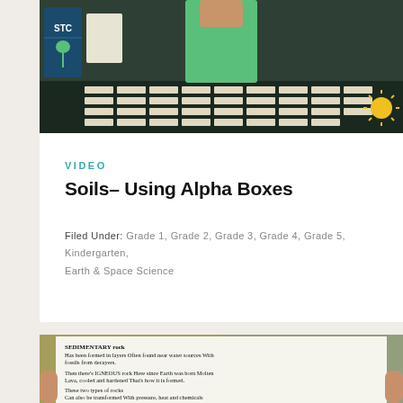[Figure (photo): Photo of a teacher in green shirt standing behind a dark table covered with rows of white cards/tiles, with an STC science kit box on the left and a sun icon on the right]
VIDEO
Soils– Using Alpha Boxes
Filed Under: Grade 1, Grade 2, Grade 3, Grade 4, Grade 5, Kindergarten, Earth & Space Science
[Figure (photo): Photo of a person holding up a white paper card with text about SEDIMENTARY rock, IGNEOUS rock, and types of rocks that can be transformed with pressure, heat and chemicals]